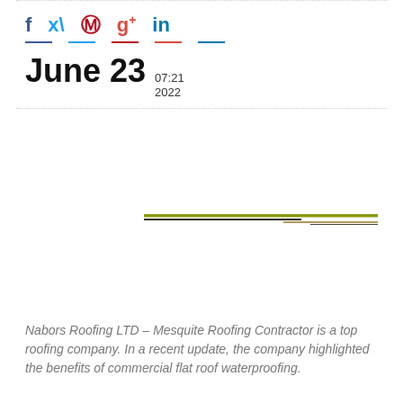[Figure (infographic): Social media share icons: Facebook (f), Twitter (bird), Pinterest (P), Google+ (g+), LinkedIn (in) each with colored underlines]
June 23 07:21 2022
[Figure (illustration): Colored horizontal lines in olive, dark brown, tan, and dark tones forming a decorative element]
Nabors Roofing LTD – Mesquite Roofing Contractor is a top roofing company. In a recent update, the company highlighted the benefits of commercial flat roof waterproofing.